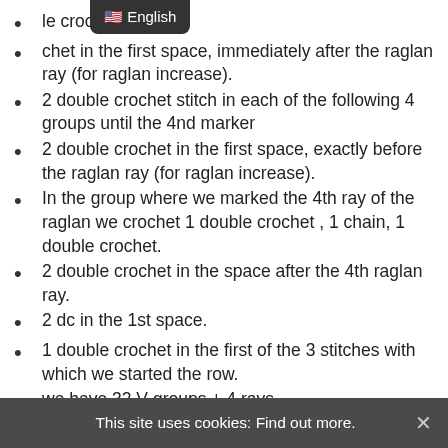le crochet.
chet in the first space, immediately after the raglan ray (for raglan increase).
2 double crochet stitch in each of the following 4 groups until the 4nd marker
2 double crochet in the first space, exactly before the raglan ray (for raglan increase).
In the group where we marked the 4th ray of the raglan we crochet 1 double crochet , 1 chain, 1 double crochet.
2 double crochet in the space after the 4th raglan ray.
2 dc in the 1st space.
1 double crochet in the first of the 3 stitches with which we started the row.
we have 32 V groups + 4 rays
as each even row more adds to V (model groups (8...
This site uses cookies: Find out more.